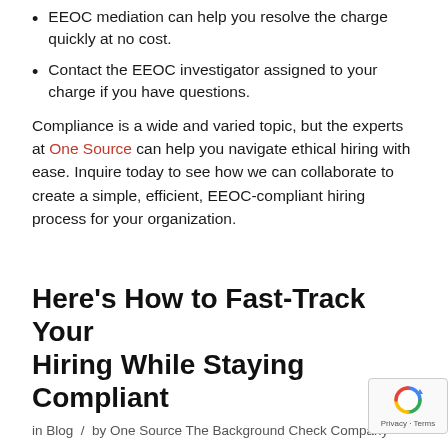EEOC mediation can help you resolve the charge quickly at no cost.
Contact the EEOC investigator assigned to your charge if you have questions.
Compliance is a wide and varied topic, but the experts at One Source can help you navigate ethical hiring with ease. Inquire today to see how we can collaborate to create a simple, efficient, EEOC-compliant hiring process for your organization.
Here's How to Fast-Track Your Hiring While Staying Compliant
in Blog / by One Source The Background Check Company
Found an amazing candidate and want to get them